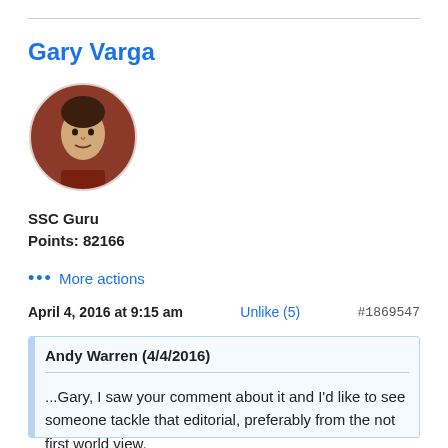Gary Varga
[Figure (photo): Circular avatar image of Gary Varga, a cartoon/illustrated person with dark hair against a reddish-brown background.]
SSC Guru
Points: 82166
••• More actions
April 4, 2016 at 9:15 am   Unlike (5)   #1869547
Andy Warren (4/4/2016)

...Gary, I saw your comment about it and I'd like to see someone tackle that editorial, preferably from the not first world view.